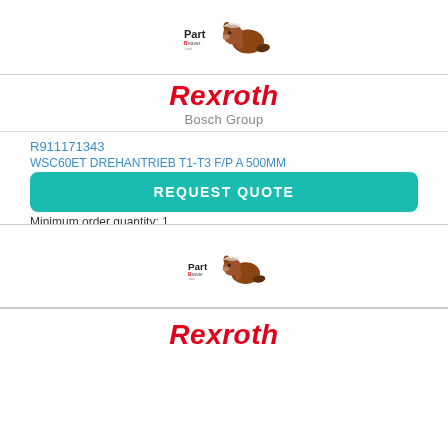[Figure (logo): PartBeaver.com logo with beaver mascot]
[Figure (logo): Rexroth Bosch Group logo]
R911171343
WSC60ET DREHANTRIEB T1-T3 F/P A 500MM
Bosch Rexroth AG
Automation / Automation / Automation
Minimum order quantity: 1
Packaging quantity: 1
Lead time: On request
REQUEST QUOTE
[Figure (logo): PartBeaver.com logo with beaver mascot (bottom)]
Rexroth (partial, bottom)